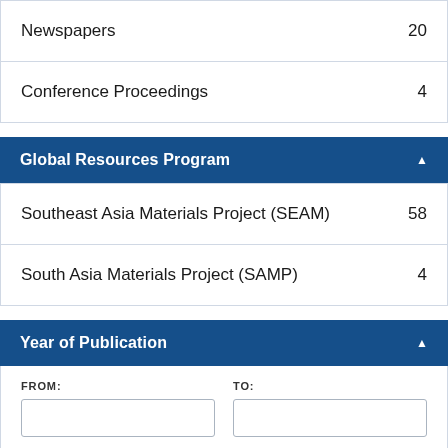| Category | Count |
| --- | --- |
| Newspapers | 20 |
| Conference Proceedings | 4 |
Global Resources Program ▲
| Project | Count |
| --- | --- |
| Southeast Asia Materials Project (SEAM) | 58 |
| South Asia Materials Project (SAMP) | 4 |
Year of Publication ▲
FROM:
TO:
[Figure (other): A range slider with two handles (left and right) on a blue track line for selecting year of publication range.]